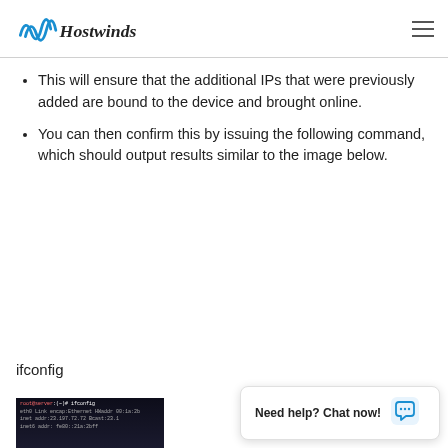Hostwinds
This will ensure that the additional IPs that were previously added are bound to the device and brought online.
You can then confirm this by issuing the following command, which should output results similar to the image below.
ifconfig
[Figure (screenshot): Terminal screenshot showing ifconfig command output with network interface information]
Need help? Chat now!